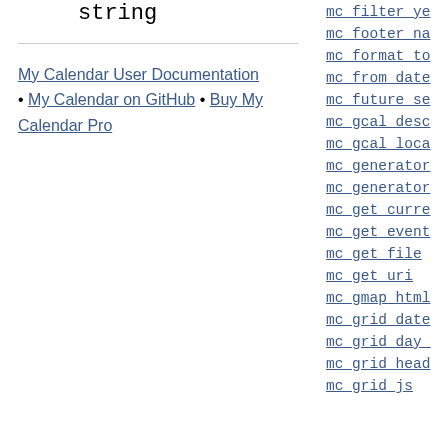string
My Calendar User Documentation
My Calendar on GitHub
Buy My Calendar Pro
mc filter ye...
mc footer na...
mc format to...
mc from date...
mc future se...
mc gcal desc...
mc gcal loca...
mc generator...
mc generator...
mc get curre...
mc get event...
mc get file
mc get uri
mc gmap html...
mc grid date...
mc grid day_...
mc grid head...
mc grid js